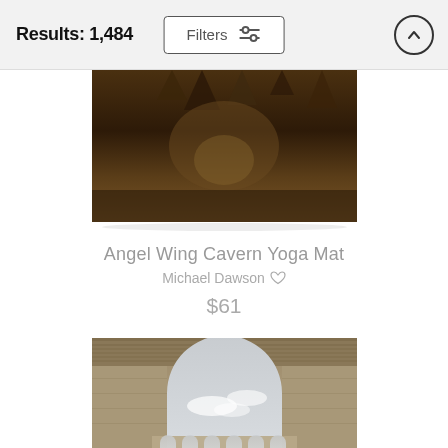Results: 1,484
Filters
[Figure (photo): Cave interior with stalactites and warm amber/brown tones — product image for Angel Wing Cavern Yoga Mat]
Angel Wing Cavern Yoga Mat
Michael Dawson ♡
$61
[Figure (photo): Ornate stone archway with detailed carved stonework and cloudy sky visible through arch — second product image]